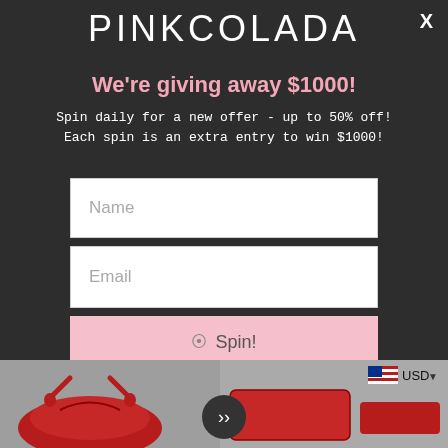PINKCOLADA
We're giving away $1000!
Spin daily for a new offer - up to 50% off! Each spin is an extra entry to win $1000!
[Figure (screenshot): Name input field (white rectangle with 'Name' placeholder text)]
[Figure (screenshot): Email input field (white rectangle with 'Email' placeholder text)]
[Figure (screenshot): Pink 'Spin!' button with spinning icon]
No, I don't feel lucky.
[Figure (photo): Red lingerie / bikini top product photos on gray background, with US flag currency selector showing USD]